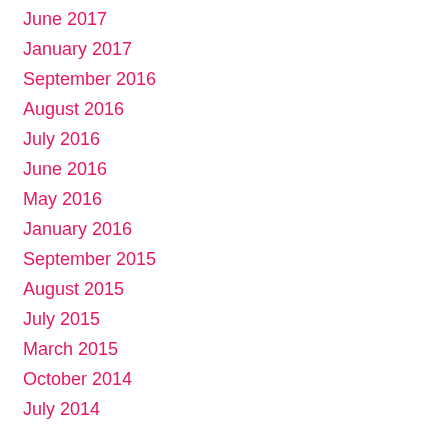June 2017
January 2017
September 2016
August 2016
July 2016
June 2016
May 2016
January 2016
September 2015
August 2015
July 2015
March 2015
October 2014
July 2014